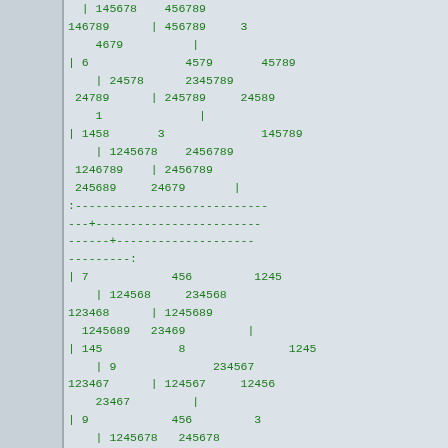| 145678    456789
146789      | 456789     3
    4679          |
| 6              4579       45789
    | 24578      2345789
 24789      | 245789     24589
    1              |
| 1458       3              145789
    | 1245678    2456789
 1246789    | 2456789
 245689     24679       |
:----------------------------
---+------------------------
------+--------------------
---------:
| 7            456         1245
    | 124568     234568
123468      | 1245689
  1245689   23469         |
| 145           8               1245
    | 9              234567
123467      | 124567     12456
    23467         |
| 9            456         3
    | 1245678   245678